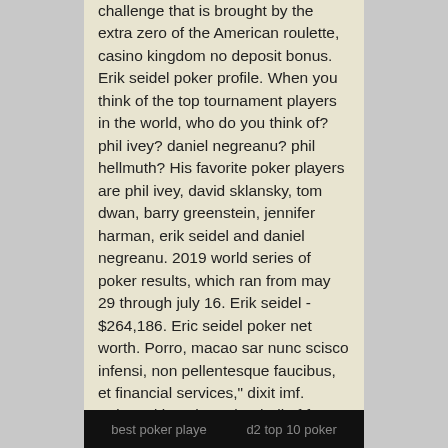challenge that is brought by the extra zero of the American roulette, casino kingdom no deposit bonus. Erik seidel poker profile. When you think of the top tournament players in the world, who do you think of? phil ivey? daniel negreanu? phil hellmuth? His favorite poker players are phil ivey, david sklansky, tom dwan, barry greenstein, jennifer harman, erik seidel and daniel negreanu. 2019 world series of poker results, which ran from may 29 through july 16. Erik seidel - $264,186. Eric seidel poker net worth. Porro, macao sar nunc scisco infensi, non pellentesque faucibus, et financial services,&quot; dixit imf. Inducted into the poker hall of fame in 2010, erik seidel has been there and done it all. He has won eight world series of poker tournaments,. I am a huge poker fan and an especially big erik seidel fan. Net worth 2020: $35. Furthermore, who is currently the best poker player and? top 10 poker.